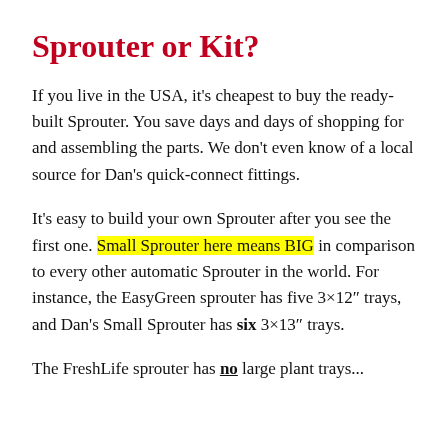Sprouter or Kit?
If you live in the USA, it's cheapest to buy the ready-built Sprouter. You save days and days of shopping for and assembling the parts. We don't even know of a local source for Dan's quick-connect fittings.
It's easy to build your own Sprouter after you see the first one. Small Sprouter here means BIG in comparison to every other automatic Sprouter in the world. For instance, the EasyGreen sprouter has five 3×12" trays, and Dan's Small Sprouter has six 3×13" trays.
The FreshLife sprouter has no large plant trays...